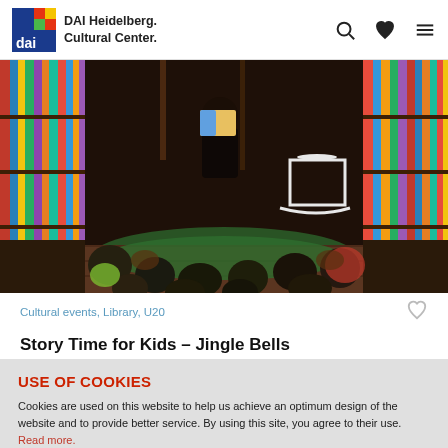DAI Heidelberg. Cultural Center.
[Figure (photo): Children sitting on a green rug on the floor of a library, listening to a person reading a picture book aloud. Bookshelves filled with colorful books line the walls. A white rocking chair is visible in the background.]
Cultural events, Library, U20
Story Time for Kids – Jingle Bells
USE OF COOKIES
Cookies are used on this website to help us achieve an optimum design of the website and to provide better service. By using this site, you agree to their use. Read more.
OK